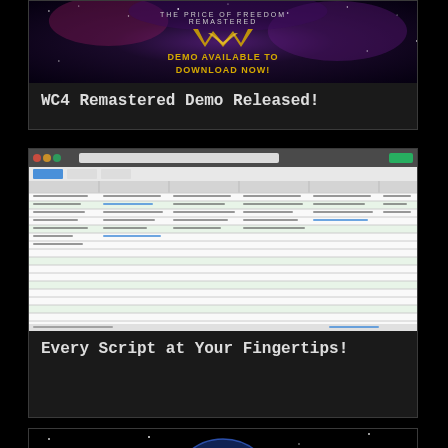[Figure (screenshot): Game promotional image for WC4 Remastered showing space background with golden text 'THE PRICE OF FREEDOM REMASTERED' and 'DEMO AVAILABLE TO DOWNLOAD NOW!']
WC4 Remastered Demo Released!
[Figure (screenshot): Screenshot of a spreadsheet application showing multiple columns of text data/scripts]
Every Script at Your Fingertips!
[Figure (photo): Silhouette of a person standing in front of a large glowing earth/globe with crowd in background]